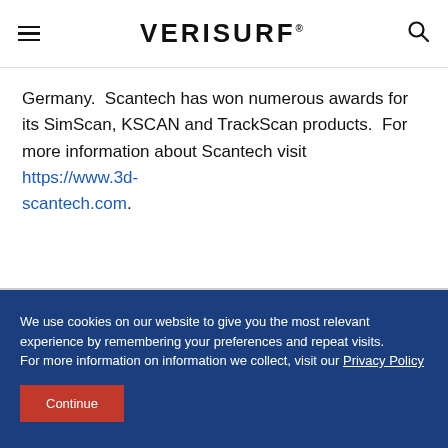VERISURF
Germany.  Scantech has won numerous awards for its SimScan, KSCAN and TrackScan products.  For more information about Scantech visit https://www.3d-scantech.com.
We use cookies on our website to give you the most relevant experience by remembering your preferences and repeat visits.
For more information on information we collect, visit our Privacy Policy
Continue